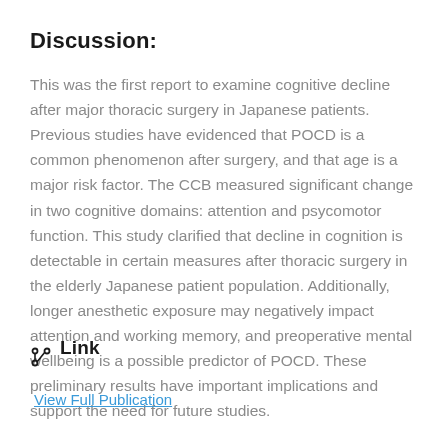Discussion:
This was the first report to examine cognitive decline after major thoracic surgery in Japanese patients. Previous studies have evidenced that POCD is a common phenomenon after surgery, and that age is a major risk factor. The CCB measured significant change in two cognitive domains: attention and psycomotor function. This study clarified that decline in cognition is detectable in certain measures after thoracic surgery in the elderly Japanese patient population. Additionally, longer anesthetic exposure may negatively impact attention and working memory, and preoperative mental wellbeing is a possible predictor of POCD. These preliminary results have important implications and support the need for future studies.
Link
View Full Publication